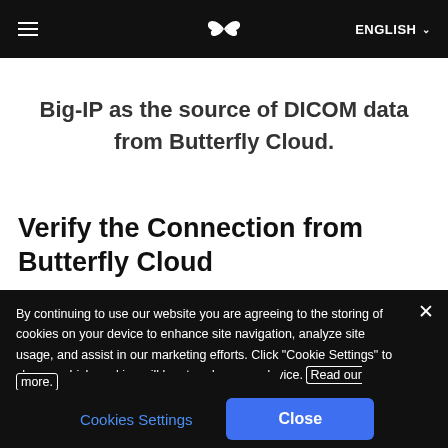≡   🦋   ENGLISH ∨
Big-IP as the source of DICOM data from Butterfly Cloud.
Verify the Connection from Butterfly Cloud
By continuing to use our website you are agreeing to the storing of cookies on your device to enhance site navigation, analyze site usage, and assist in our marketing efforts. Click "Cookie Settings" to change which cookies will be stored on your device. Read our Cookie Notice to learn more.
Cookies Settings   Close